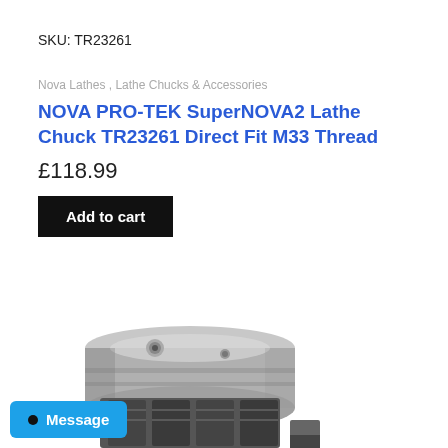SKU: TR23261
Nova Lathes , Lathe Chucks & Accessories
NOVA PRO-TEK SuperNOVA2 Lathe Chuck TR23261 Direct Fit M33 Thread
£118.99
Add to cart
[Figure (photo): Photo of a NOVA PRO-TEK SuperNOVA2 lathe chuck, showing a metallic silver and grey machined chuck with jaws, partially cut off at the bottom of the page.]
Message